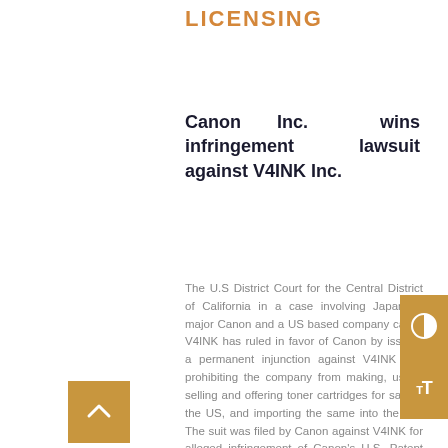LICENSING
Canon Inc. wins infringement lawsuit against V4INK Inc.
The U.S District Court for the Central District of California in a case involving Japanese major Canon and a US based company called V4INK has ruled in favor of Canon by issuing a permanent injunction against V4INK and prohibiting the company from making, using, selling and offering toner cartridges for sale in the US, and importing the same into the US. The suit was filed by Canon against V4INK for alleged infringement of Canon's U.S. Patent Nos. 7,869,740; 8,165,494; 8,588,646; 8,971,760; 9,494,916; 9,857,763; and 10,162,304.